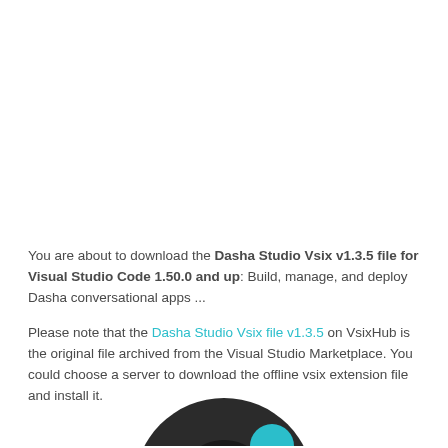You are about to download the Dasha Studio Vsix v1.3.5 file for Visual Studio Code 1.50.0 and up: Build, manage, and deploy Dasha conversational apps ...
Please note that the Dasha Studio Vsix file v1.3.5 on VsixHub is the original file archived from the Visual Studio Marketplace. You could choose a server to download the offline vsix extension file and install it.
[Figure (logo): Dasha logo - dark circular shape with teal accent, bottom portion visible]